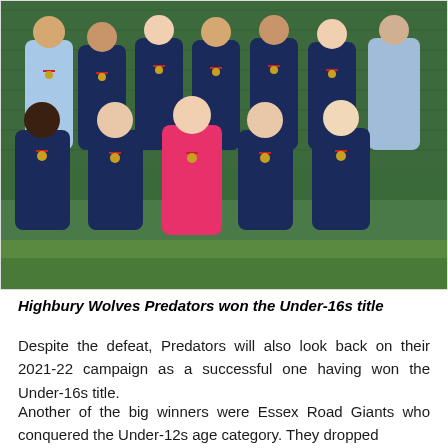[Figure (photo): Group photo of Highbury Wolves Predators football team, mostly young women in navy blue jerseys with red medal lanyards, one player in pink goalkeeper kit in the middle front row, standing and kneeling on an artificial turf pitch in front of a chain-link fence.]
Highbury Wolves Predators won the Under-16s title
Despite the defeat, Predators will also look back on their 2021-22 campaign as a successful one having won the Under-16s title.
Another of the big winners were Essex Road Giants who conquered the Under-12s age category. They dropped